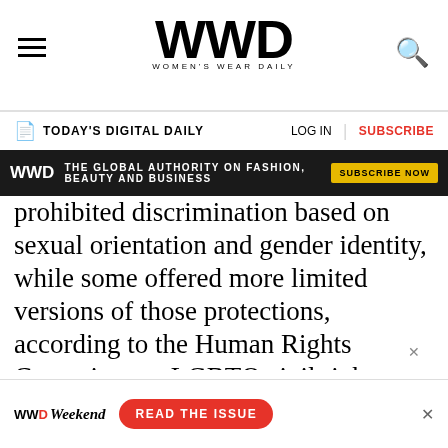WWD — Women's Wear Daily
TODAY'S DIGITAL DAILY | LOG IN | SUBSCRIBE
[Figure (other): WWD advertisement banner: THE GLOBAL AUTHORITY ON FASHION, BEAUTY AND BUSINESS — SUBSCRIBE NOW]
prohibited discrimination based on sexual orientation and gender identity, while some offered more limited versions of those protections, according to the Human Rights Campaign, an LGBTQ civil rights advocacy group.
“Having the Supreme Court say once and for all that it is covered meant that now there’s a single standard and it’s the case for everyone that gender identity, gender expression and sexual orientation are covered under the ‘sex’ category in Title VII,
[Figure (other): WWD Weekend advertisement: READ THE ISSUE]